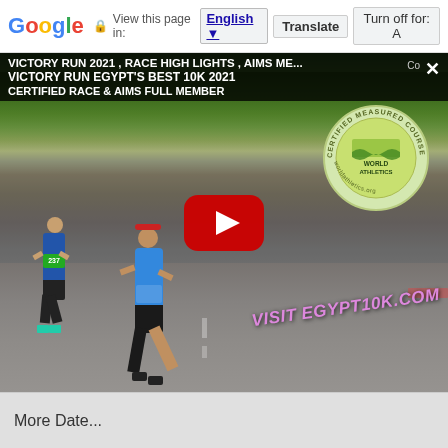Google | View this page in: English | Translate | Turn off for: A
[Figure (screenshot): YouTube video thumbnail showing runners in a road race. Text overlays read: 'VICTORY RUN 2021, RACE HIGH LIGHTS, AIMS ME...' and 'VICTORY RUN EGYPT'S BEST 10K 2021 CERTIFIED RACE & AIMS FULL MEMBER'. A World Athletics certified measured course badge is visible. Red YouTube play button in center. Text 'VISIT EGYPT10K.COM' at bottom right.]
More Date...